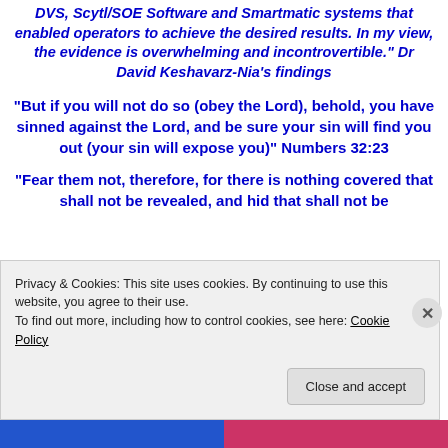DVS, Scytl/SOE Software and Smartmatic systems that enabled operators to achieve the desired results. In my view, the evidence is overwhelming and incontrovertible." Dr David Keshavarz-Nia's findings
"But if you will not do so (obey the Lord), behold, you have sinned against the Lord, and be sure your sin will find you out (your sin will expose you)" Numbers 32:23
"Fear them not, therefore, for there is nothing covered that shall not be revealed, and hid that shall not be
Privacy & Cookies: This site uses cookies. By continuing to use this website, you agree to their use.
To find out more, including how to control cookies, see here: Cookie Policy